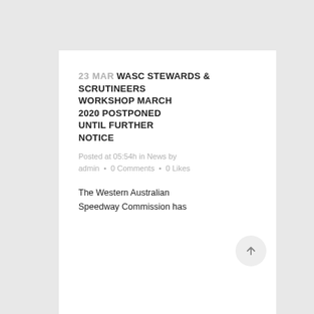23 MAR WASC STEWARDS & SCRUTINEERS WORKSHOP MARCH 2020 POSTPONED UNTIL FURTHER NOTICE
Posted at 05:54h in News by admin • 0 Comments • 0 Likes
The Western Australian Speedway Commission has